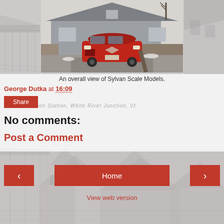[Figure (photo): A red car (Dodge Caliber) parked in a gravel driveway in front of a gray ranch-style house with a wooden deck, with another building visible to the right. Left and right sides show faded watermark images of old train stations.]
An overall view of Sylvan Scale Models.
George Dutka at 16:09
Share
Union Station, White River Junction, Vt.
No comments:
Post a Comment
[Figure (photo): Faded watermark background image of a historic train station building with peaked roofs.]
Home
View web version